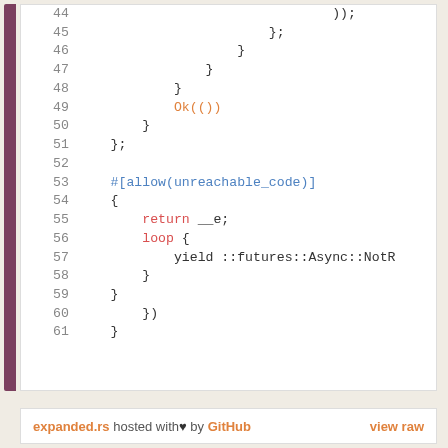[Figure (screenshot): Code viewer screenshot showing Rust source code lines 44-61 with syntax highlighting. Orange keywords: Ok, return, loop. Blue: #[allow(unreachable_code)]. Footer shows 'expanded.rs hosted with heart by GitHub' and 'view raw' link.]
expanded.rs hosted with ♥ by GitHub    view raw